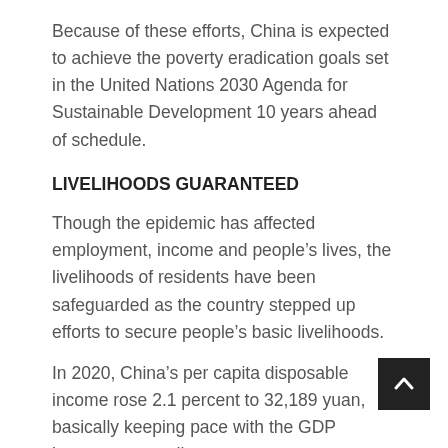Because of these efforts, China is expected to achieve the poverty eradication goals set in the United Nations 2030 Agenda for Sustainable Development 10 years ahead of schedule.
LIVELIHOODS GUARANTEED
Though the epidemic has affected employment, income and people’s lives, the livelihoods of residents have been safeguarded as the country stepped up efforts to secure people’s basic livelihoods.
In 2020, China’s per capita disposable income rose 2.1 percent to 32,189 yuan, basically keeping pace with the GDP increase, according